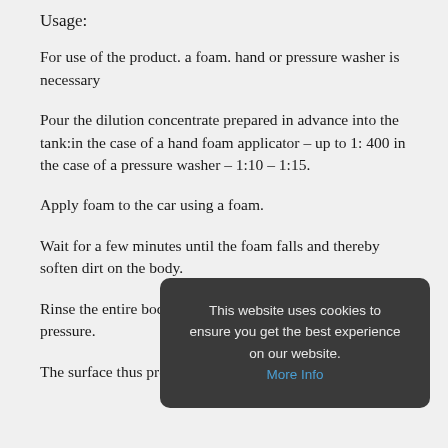Usage:
For use of the product. a foam. hand or pressure washer is necessary
Pour the dilution concentrate prepared in advance into the tank:in the case of a hand foam applicator – up to 1: 400 in the case of a pressure washer – 1:10 – 1:15.
Apply foam to the car using a foam.
Wait for a few minutes until the foam falls and thereby soften dirt on the body.
Rinse the entire body thoroughly with water under pressure.
The surface thus prepared can be washed by hand.
[Figure (screenshot): Cookie consent overlay with dark rounded rectangle background reading 'This website uses cookies to ensure you get the best experience on our website.' with a 'More Info' link in blue.]